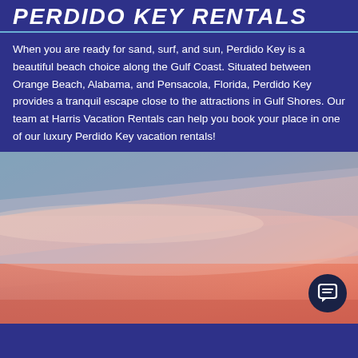PERDIDO KEY RENTALS
When you are ready for sand, surf, and sun, Perdido Key is a beautiful beach choice along the Gulf Coast. Situated between Orange Beach, Alabama, and Pensacola, Florida, Perdido Key provides a tranquil escape close to the attractions in Gulf Shores. Our team at Harris Vacation Rentals can help you book your place in one of our luxury Perdido Key vacation rentals!
[Figure (photo): Sunset sky over a beach with pink and orange clouds blending into a blue-grey sky, viewed from below.]